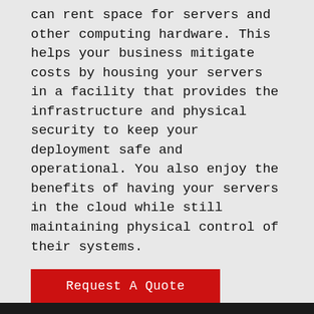can rent space for servers and other computing hardware. This helps your business mitigate costs by housing your servers in a facility that provides the infrastructure and physical security to keep your deployment safe and operational. You also enjoy the benefits of having your servers in the cloud while still maintaining physical control of their systems.
[Figure (other): Red 'Request A Quote' button]
We use cookies on our website to give you the most relevant experience by remembering your preferences and repeat visits. By clicking "Accept All", you consent to the use of ALL the cookies. However, you may visit "Cookie Settings" to provide a controlled consent.
[Figure (other): Cookie consent buttons: WhatsApp icon, Cookie Settings button, Accept All button]